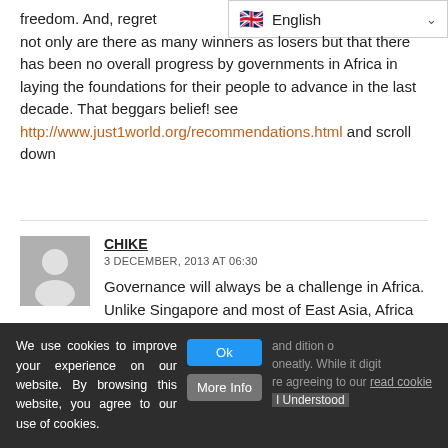freedom. And, regrettably, not only are there as many winners as losers but that there has been no overall progress by governments in Africa in laying the foundations for their people to advance in the last decade. That beggars belief! see http://www.just1world.org/recommendations.html and scroll down
[Figure (screenshot): Language selector showing UK flag and 'English' with dropdown chevron]
CHIKE
3 DECEMBER, 2013 AT 06:30
Governance will always be a challenge in Africa. Unlike Singapore and most of East Asia, Africa has serious structural, foundational problems.
We use cookies to improve your experience on our website. By browsing this website, you agree to our use of cookies.